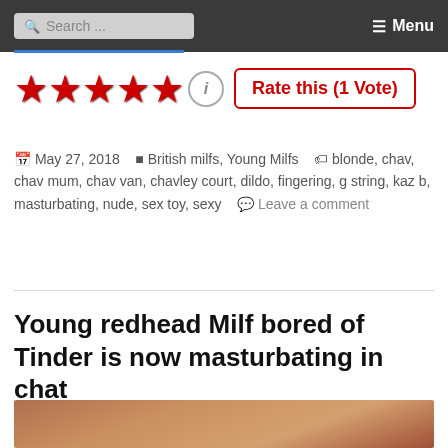Search ... Menu
[Figure (other): Five red stars rating with info icon and Rate this (1 Vote) button]
May 27, 2018   British milfs, Young Milfs   blonde, chav, chav mum, chav van, chavley court, dildo, fingering, g string, kaz b, masturbating, nude, sex toy, sexy   Leave a comment
Young redhead Milf bored of Tinder is now masturbating in chat
[Figure (photo): Partial photo of a redhead woman's face]